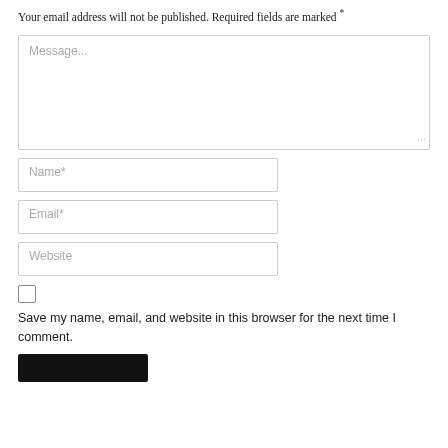Your email address will not be published. Required fields are marked *
[Figure (screenshot): Message text area input field with placeholder text 'Message...' and resize handle]
[Figure (screenshot): Name text input field with placeholder 'Name*']
[Figure (screenshot): Email text input field with placeholder 'Email*']
[Figure (screenshot): Website text input field with placeholder 'Website']
Save my name, email, and website in this browser for the next time I comment.
[Figure (screenshot): Black submit button]